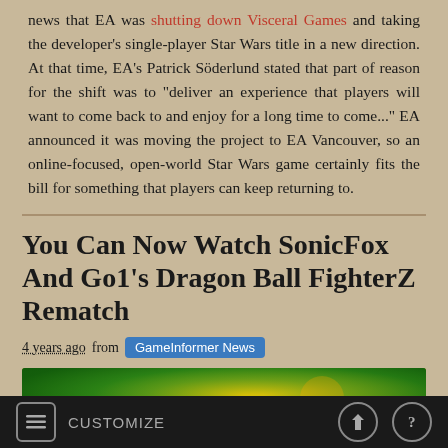news that EA was shutting down Visceral Games and taking the developer's single-player Star Wars title in a new direction. At that time, EA's Patrick Söderlund stated that part of reason for the shift was to "deliver an experience that players will want to come back to and enjoy for a long time to come..." EA announced it was moving the project to EA Vancouver, so an online-focused, open-world Star Wars game certainly fits the bill for something that players can keep returning to.
You Can Now Watch SonicFox And Go1's Dragon Ball FighterZ Rematch
4 years ago from GameInformer News
[Figure (photo): Thumbnail image showing colorful Dragon Ball FighterZ game art with green and yellow tones]
CUSTOMIZE